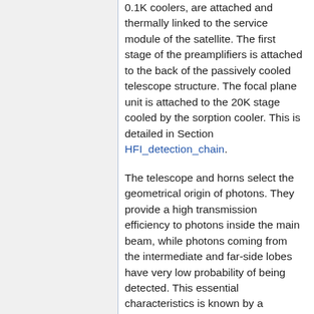0.1K coolers, are attached and thermally linked to the service module of the satellite. The first stage of the preamplifiers is attached to the back of the passively cooled telescope structure. The focal plane unit is attached to the 20K stage cooled by the sorption cooler. This is detailed in Section HFI_detection_chain.
The telescope and horns select the geometrical origin of photons. They provide a high transmission efficiency to photons inside the main beam, while photons coming from the intermediate and far-side lobes have very low probability of being detected. This essential characteristics is known by a complex process mixing ground measurements of components (horns...